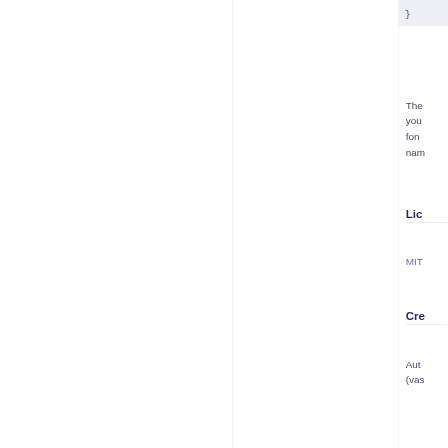[Figure (screenshot): Code snippet block with closing brace character in a light gray/blue background box]
The you fon nam
Lic
MIT
Cre
Aut (vas